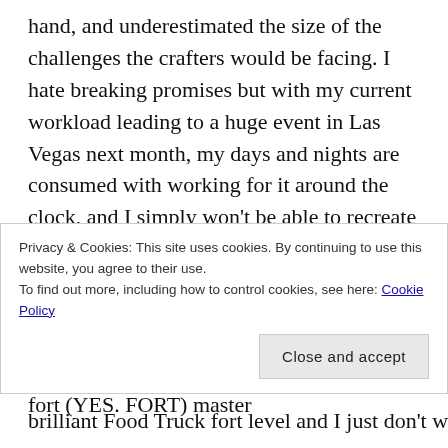hand, and underestimated the size of the challenges the crafters would be facing. I hate breaking promises but with my current workload leading to a huge event in Las Vegas next month, my days and nights are consumed with working for it around the clock, and I simply won't be able to recreate the challenges as I'd like… 😐
Part of the commitment was that I wouldn't buy anything new in order to craft for them, and between the terrarium fast starter and fort (YES. FORT) master
Privacy & Cookies: This site uses cookies. By continuing to use this website, you agree to their use.
To find out more, including how to control cookies, see here: Cookie Policy
Close and accept
brilliant Food Truck fort level and I just don't want to